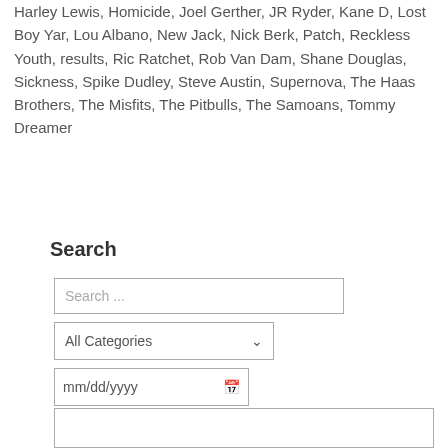Harley Lewis, Homicide, Joel Gerther, JR Ryder, Kane D, Lost Boy Yar, Lou Albano, New Jack, Nick Berk, Patch, Reckless Youth, results, Ric Ratchet, Rob Van Dam, Shane Douglas, Sickness, Spike Dudley, Steve Austin, Supernova, The Haas Brothers, The Misfits, The Pitbulls, The Samoans, Tommy Dreamer
Search
[Figure (screenshot): Search form with a text input showing 'Search ...', a dropdown showing 'All Categories', a date input showing 'mm/dd/yyyy' with calendar icon, and a partially visible bottom bar.]